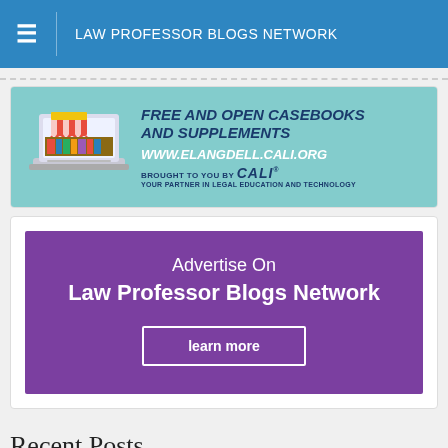LAW PROFESSOR BLOGS NETWORK
[Figure (illustration): CALI advertisement banner: Free and Open Casebooks and Supplements, www.elangdell.cali.org, Brought to you by CALI, Your Partner in Legal Education and Technology]
[Figure (illustration): Purple advertisement box: Advertise On Law Professor Blogs Network, with a learn more button]
Recent Posts